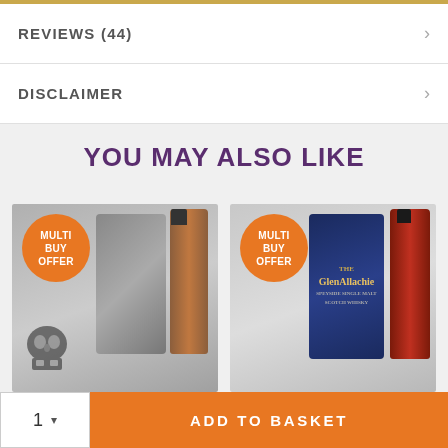REVIEWS (44)
DISCLAIMER
YOU MAY ALSO LIKE
[Figure (photo): Two whisky product cards each with an orange circular 'MULTI BUY OFFER' badge. Left card shows a skull-decorated bottle and cylindrical case. Right card shows a GlenAllachie bottle and navy blue gift box.]
1
ADD TO BASKET